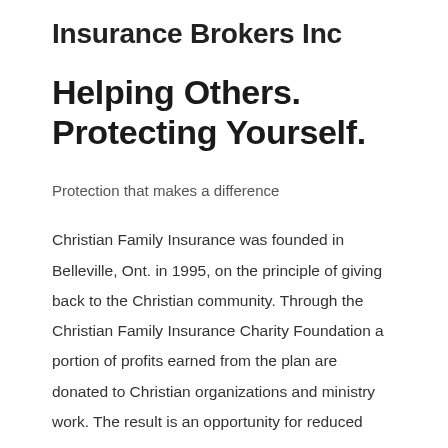Insurance Brokers Inc
Helping Others. Protecting Yourself.
Protection that makes a difference
Christian Family Insurance was founded in Belleville, Ont. in 1995, on the principle of giving back to the Christian community. Through the Christian Family Insurance Charity Foundation a portion of profits earned from the plan are donated to Christian organizations and ministry work. The result is an opportunity for reduced